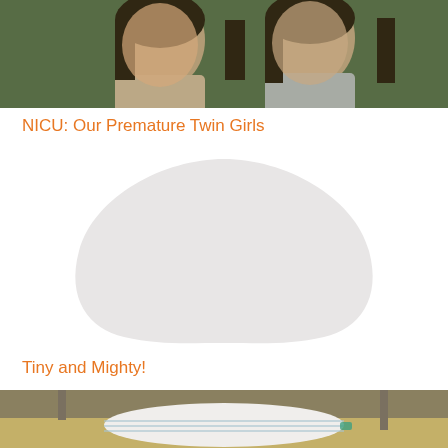[Figure (photo): Two teenage girls with dark hair smiling, outdoors with green foliage in background]
NICU: Our Premature Twin Girls
[Figure (photo): Blurred/placeholder blob shape in light gray, representing a redacted or loading image]
Tiny and Mighty!
[Figure (photo): Close-up photo of a newborn premature baby wrapped in white hospital blankets in a NICU setting]